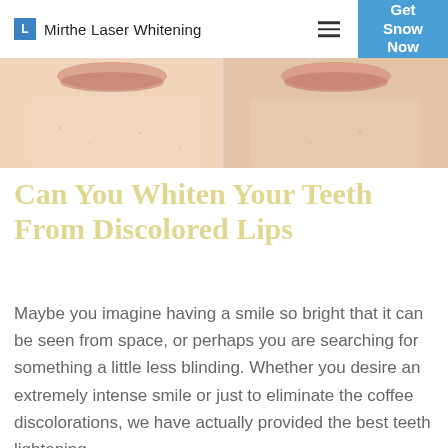L  Mirthe Laser Whitening   ≡   Get Snow Now
[Figure (photo): Close-up photo of a person's lower face/chin area, split into two panels showing a before-and-after comparison of skin or teeth whitening treatment. Skin tone is warm/peach.]
Can You Whiten Your Teeth From Discolored Lips
Maybe you imagine having a smile so bright that it can be seen from space, or perhaps you are searching for something a little less blinding. Whether you desire an extremely intense smile or just to eliminate the coffee discolorations, we have actually provided the best teeth lightening